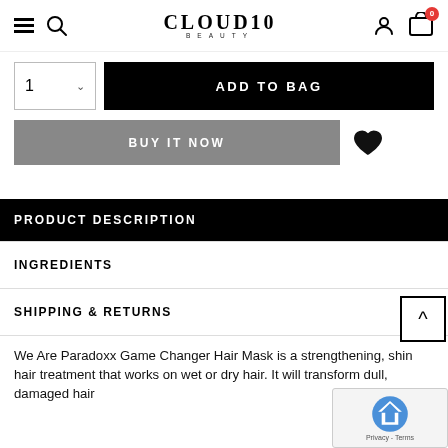CLOUD10 BEAUTY — navigation header with hamburger, search, logo, user icon, and cart (0)
1 [quantity selector]
ADD TO BAG
BUY IT NOW
PRODUCT DESCRIPTION
INGREDIENTS
SHIPPING & RETURNS
We Are Paradoxx Game Changer Hair Mask is a strengthening, shining hair treatment that works on wet or dry hair. It will transform dull, damaged hair into...